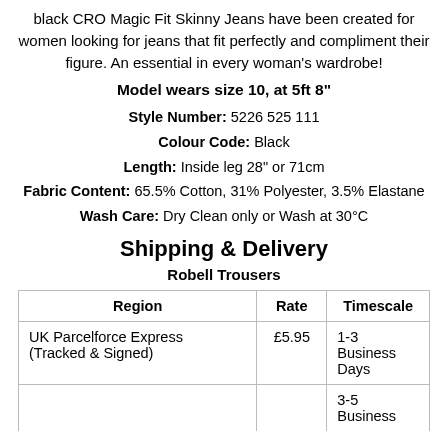black CRO Magic Fit Skinny Jeans have been created for women looking for jeans that fit perfectly and compliment their figure. An essential in every woman's wardrobe!
Model wears size 10, at 5ft 8"
Style Number: 5226 525 111
Colour Code: Black
Length: Inside leg 28" or 71cm
Fabric Content: 65.5% Cotton, 31% Polyester, 3.5% Elastane
Wash Care: Dry Clean only or Wash at 30°C
Shipping & Delivery
Robell Trousers
| Region | Rate | Timescale |
| --- | --- | --- |
| UK Parcelforce Express (Tracked & Signed) | £5.95 | 1-3 Business Days |
|  |  | 3-5 Business |